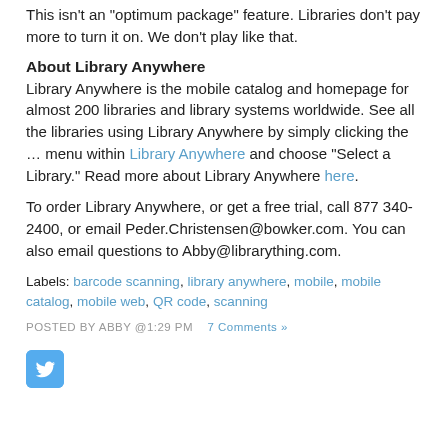This isn’t an “optimum package” feature. Libraries don’t pay more to turn it on. We don’t play like that.
About Library Anywhere
Library Anywhere is the mobile catalog and homepage for almost 200 libraries and library systems worldwide. See all the libraries using Library Anywhere by simply clicking the … menu within Library Anywhere and choose “Select a Library.” Read more about Library Anywhere here.
To order Library Anywhere, or get a free trial, call 877 340-2400, or email Peder.Christensen@bowker.com. You can also email questions to Abby@librarything.com.
Labels: barcode scanning, library anywhere, mobile, mobile catalog, mobile web, QR code, scanning
POSTED BY ABBY @1:29 PM   7 Comments »
[Figure (logo): Twitter bird logo button, blue rounded square]